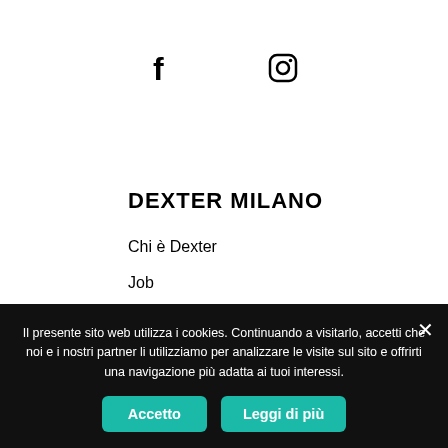[Figure (other): Facebook icon (bold f) and Instagram icon (camera outline) side by side]
DEXTER MILANO
Chi è Dexter
Job
Diventa rivenditore
TERMS AND CONDITIONS
Il presente sito web utilizza i cookies. Continuando a visitarlo, accetti che noi e i nostri partner li utilizziamo per analizzare le visite sul sito e offrirti una navigazione più adatta ai tuoi interessi.
Accetto
Leggi di più